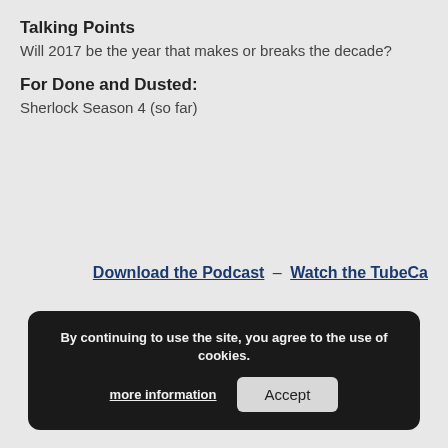Talking Points
Will 2017 be the year that makes or breaks the decade?
For Done and Dusted:
Sherlock Season 4 (so far)
Download the Podcast – Watch the TubeCa
By continuing to use the site, you agree to the use of cookies. more information Accept